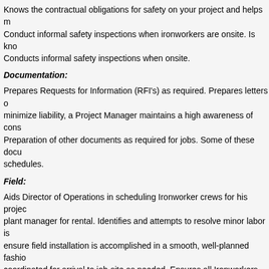Knows the contractual obligations for safety on your project and helps m... Conduct informal safety inspections when ironworkers are onsite. Is kno... Conducts informal safety inspections when onsite.
Documentation:
Prepares Requests for Information (RFI's) as required. Prepares letters d... minimize liability, a Project Manager maintains a high awareness of cons... Preparation of other documents as required for jobs. Some of these docu... schedules.
Field:
Aids Director of Operations in scheduling Ironworker crews for his projec... plant manager for rental. Identifies and attempts to resolve minor labor is... ensure field installation is accomplished in a smooth, well-planned fashio... coordinated for arrival to job-site as needed. Ensures all Ironworkers unc... challenges reported by the ironworker foreman on your projects. Ensures... unpriced extras.